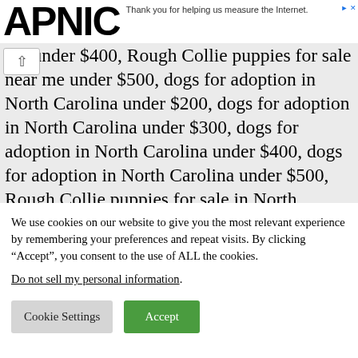APNIC — Thank you for helping us measure the Internet.
me under $400, Rough Collie puppies for sale near me under $500, dogs for adoption in North Carolina under $200, dogs for adoption in North Carolina under $300, dogs for adoption in North Carolina under $400, dogs for adoption in North Carolina under $500, Rough Collie puppies for sale in North Carolina under $200, Rough
We use cookies on our website to give you the most relevant experience by remembering your preferences and repeat visits. By clicking “Accept”, you consent to the use of ALL the cookies. Do not sell my personal information.
Cookie Settings  Accept